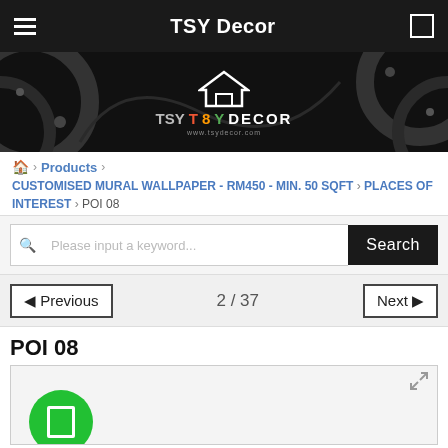TSY Decor
[Figure (logo): TSY Decor banner logo with decorative swirl background, white house icon above text 'TSY T8Y DECOR']
🏠 › Products › CUSTOMISED MURAL WALLPAPER - RM450 - MIN. 50 SQFT › PLACES OF INTEREST › POI 08
Please input a keyword... Search
◄ Previous   2 / 37   Next ►
POI 08